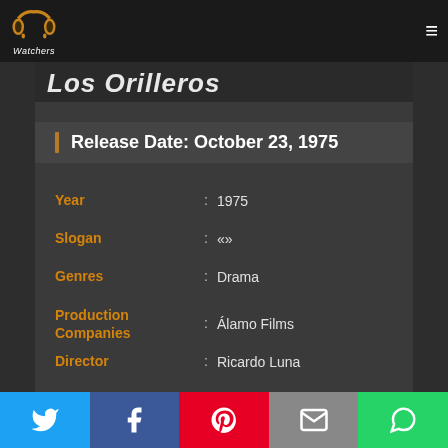PP Watchers - navigation header with logo and hamburger menu
Los Orilleros
Release Date: October 23, 1975
| Field | : | Value |
| --- | --- | --- |
| Year | : | 1975 |
| Slogan | : | «» |
| Genres | : | Drama |
| Production Companies | : | Álamo Films |
| Director | : | Ricardo Luna |
| Producers | : |  |
| Writers | : | Jorge Luis Borges, Adolfo Bioy Casares, Ricardo Luna |
| RunTime | : | 42mins |
Social share buttons: Twitter, Facebook, Pinterest, Email, WhatsApp